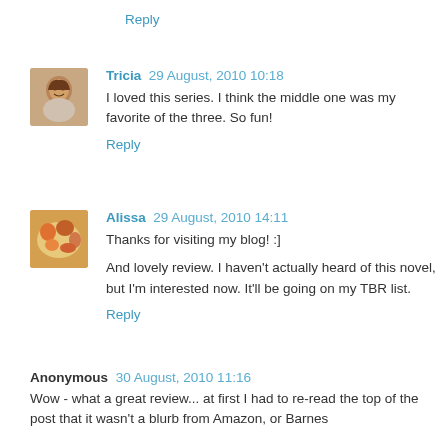Reply
Tricia 29 August, 2010 10:18
I loved this series. I think the middle one was my favorite of the three. So fun!
Reply
Alissa 29 August, 2010 14:11
Thanks for visiting my blog! :]
And lovely review. I haven't actually heard of this novel, but I'm interested now. It'll be going on my TBR list.
Reply
Anonymous 30 August, 2010 11:16
Wow - what a great review... at first I had to re-read the top of the post that it wasn't a blurb from Amazon, or Barnes